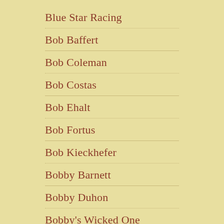Blue Star Racing
Bob Baffert
Bob Coleman
Bob Costas
Bob Ehalt
Bob Fortus
Bob Kieckhefer
Bobby Barnett
Bobby Duhon
Bobby's Wicked One